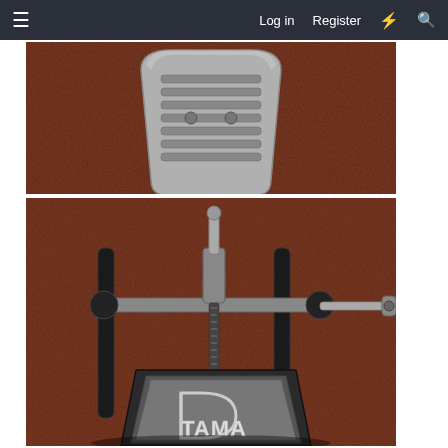≡   Log in   Register   ⚡   🔍
[Figure (photo): Close-up photo of a drum pedal footplate on a brown carpet background, showing the ridged metal footplate]
[Figure (photo): Photo of a Tama brand bass drum double pedal on a brown carpet, showing the mechanism, chain drive, crossbar, and the TAMA logo on the footplate]